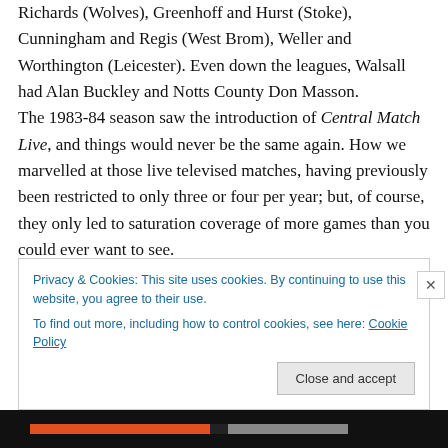Richards (Wolves), Greenhoff and Hurst (Stoke), Cunningham and Regis (West Brom), Weller and Worthington (Leicester). Even down the leagues, Walsall had Alan Buckley and Notts County Don Masson. The 1983-84 season saw the introduction of Central Match Live, and things would never be the same again. How we marvelled at those live televised matches, having previously been restricted to only three or four per year; but, of course, they only led to saturation coverage of more games than you could ever want to see.
Privacy & Cookies: This site uses cookies. By continuing to use this website, you agree to their use.
To find out more, including how to control cookies, see here: Cookie Policy
Close and accept